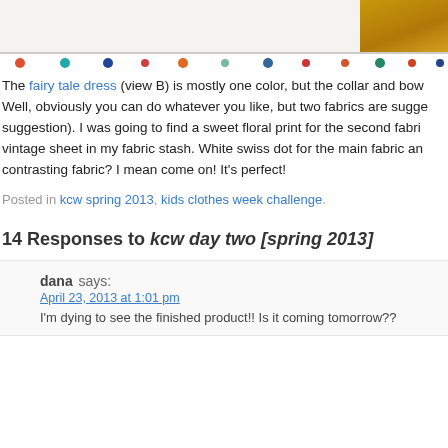[Figure (photo): Top portion of a fabric/sewing photo showing colorful polka dots on white fabric and a golden/brown fabric swatch in the top right corner]
The fairy tale dress (view B) is mostly one color, but the collar and bow... Well, obviously you can do whatever you like, but two fabrics are suggested (suggestion). I was going to find a sweet floral print for the second fabric... vintage sheet in my fabric stash. White swiss dot for the main fabric and contrasting fabric? I mean come on! It's perfect!
Posted in kcw spring 2013, kids clothes week challenge.
14 Responses to kcw day two [spring 2013]
dana says:
April 23, 2013 at 1:01 pm
I'm dying to see the finished product!! Is it coming tomorrow??